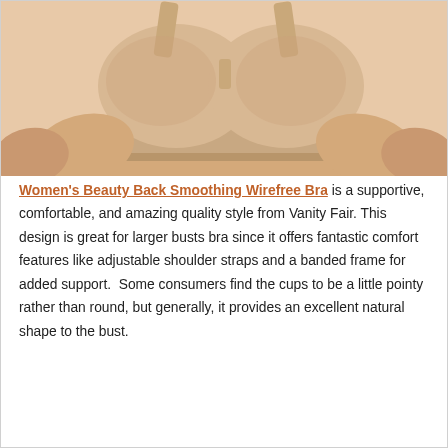[Figure (photo): Photo of a woman's torso wearing a beige/nude wirefree smoothing bra, arms folded across midsection, cropped at shoulders and waist.]
Women's Beauty Back Smoothing Wirefree Bra is a supportive, comfortable, and amazing quality style from Vanity Fair. This design is great for larger busts bra since it offers fantastic comfort features like adjustable shoulder straps and a banded frame for added support.  Some consumers find the cups to be a little pointy rather than round, but generally, it provides an excellent natural shape to the bust.